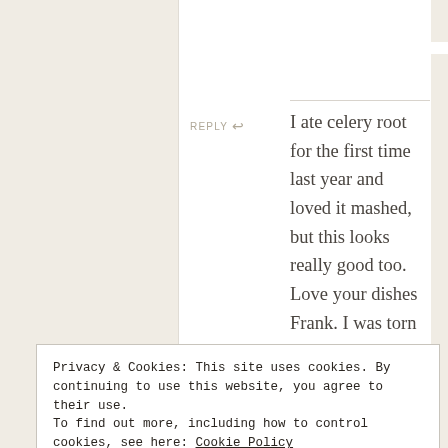[Figure (logo): Blue square avatar with white power/refresh icon]
Ciao Chow Linda
05.28.2010 AT 21:08
REPLY →
I ate celery root for the first time last year and loved it mashed, but this looks really good too. Love your dishes Frank. I was torn between that pattern and the one I chose – called Raffaelesco.
Privacy & Cookies: This site uses cookies. By continuing to use this website, you agree to their use. To find out more, including how to control cookies, see here: Cookie Policy
Close and accept
This comment has been